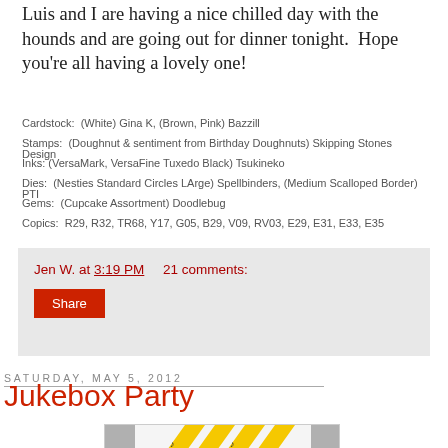Luis and I are having a nice chilled day with the hounds and are going out for dinner tonight.  Hope you're all having a lovely one!
Cardstock:  (White) Gina K, (Brown, Pink) Bazzill
Stamps:  (Doughnut & sentiment from Birthday Doughnuts) Skipping Stones Design
Inks: (VersaMark, VersaFine Tuxedo Black) Tsukineko
Dies:  (Nesties Standard Circles LArge) Spellbinders, (Medium Scalloped Border) PTI
Gems:  (Cupcake Assortment) Doodlebug
Copics:  R29, R32, TR68, Y17, G05, B29, V09, RV03, E29, E31, E33, E35
Jen W. at 3:19 PM    21 comments:
Share
Saturday, May 5, 2012
Jukebox Party
[Figure (photo): Photo of yellow and white card craft with musical notes, partially visible]